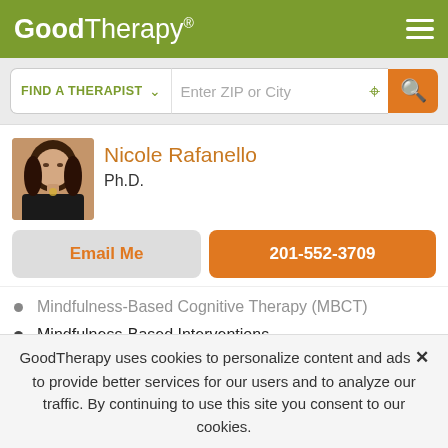[Figure (logo): GoodTherapy logo with hamburger menu on olive green header]
[Figure (screenshot): Search bar with FIND A THERAPIST dropdown and Enter ZIP or City input]
[Figure (photo): Profile photo of Nicole Rafanello, a woman with long dark hair wearing black]
Nicole Rafanello
Ph.D.
Email Me
201-552-3709
Mindfulness-Based Cognitive Therapy (MBCT)
Mindfulness-Based Interventions
Object Relations
Positive Psychology
Positive Psychotherapy
GoodTherapy uses cookies to personalize content and ads to provide better services for our users and to analyze our traffic. By continuing to use this site you consent to our cookies.